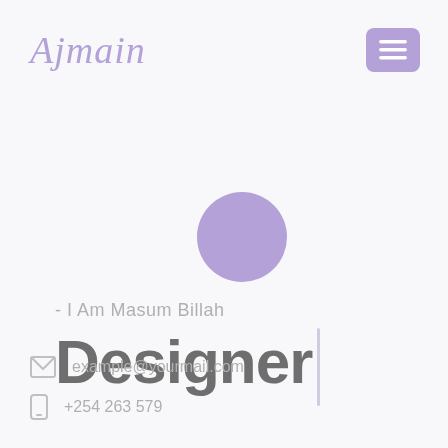Ajmain
[Figure (other): Purple hamburger menu button (three white horizontal bars on purple rounded rectangle background)]
[Figure (other): Purple filled circle, decorative element]
- I Am Masum Billah
Designer
example@yourmail.com
+254 263 579